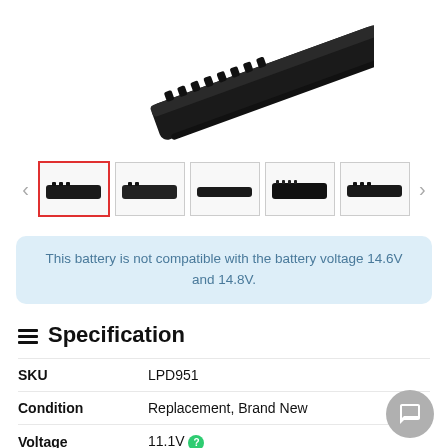[Figure (photo): Laptop battery product photo, top angle, black rectangular battery pack]
[Figure (photo): Thumbnail gallery of 5 battery product photos with left/right navigation arrows; first thumbnail selected with red border]
This battery is not compatible with the battery voltage 14.6V and 14.8V.
Specification
|  |  |
| --- | --- |
| SKU | LPD951 |
| Condition | Replacement, Brand New |
| Voltage | 11.1V |
| Capacity | 31Wh |